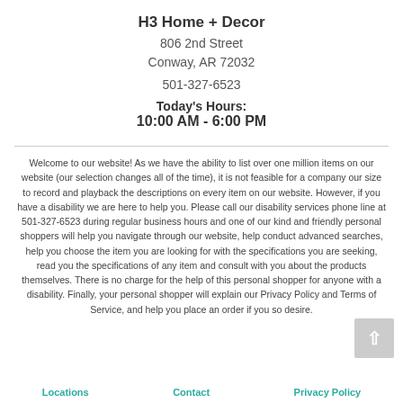H3 Home + Decor
806 2nd Street
Conway, AR 72032
501-327-6523
Today's Hours:
10:00 AM - 6:00 PM
Welcome to our website! As we have the ability to list over one million items on our website (our selection changes all of the time), it is not feasible for a company our size to record and playback the descriptions on every item on our website. However, if you have a disability we are here to help you. Please call our disability services phone line at 501-327-6523 during regular business hours and one of our kind and friendly personal shoppers will help you navigate through our website, help conduct advanced searches, help you choose the item you are looking for with the specifications you are seeking, read you the specifications of any item and consult with you about the products themselves. There is no charge for the help of this personal shopper for anyone with a disability. Finally, your personal shopper will explain our Privacy Policy and Terms of Service, and help you place an order if you so desire.
Locations   Contact   Privacy Policy